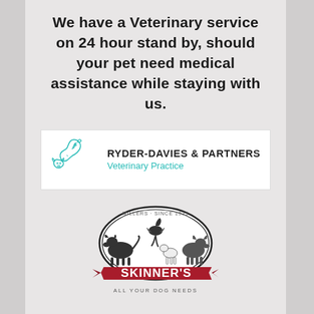We have a Veterinary service on 24 hour stand by, should your pet need medical assistance while staying with us.
[Figure (logo): Ryder-Davies & Partners Veterinary Practice logo — teal outline of a horse and dog head, with company name in bold and 'Veterinary Practice' in teal below]
[Figure (logo): Skinner's dog food logo — oval badge with illustration of several dogs, red ribbon banner with 'SKINNER'S' in white, tagline 'ALL YOUR DOG NEEDS' at bottom]